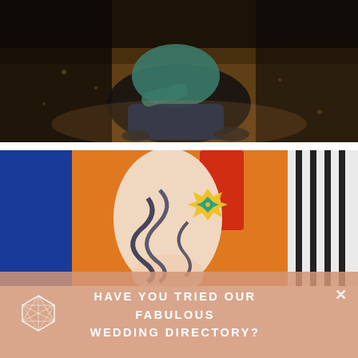[Figure (photo): Dark moody photo of a person sitting on sandy/rocky ground, wearing teal/green top and jeans, viewed from behind/side, low light with warm tones on ground]
[Figure (photo): Close-up photo of a person's leg with a colorful tattoo (blue and yellow lotus/flower design with swirling waves), against an orange and blue background with another person in striped clothing visible]
HAVE YOU TRIED OUR FABULOUS WEDDING DIRECTORY?